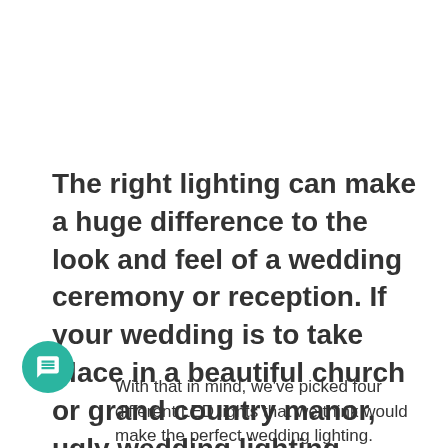The right lighting can make a huge difference to the look and feel of a wedding ceremony or reception. If your wedding is to take place in a beautiful church or grand country manor, ugly wedding lighting could really ruin the mood.
With that in mind, we've picked four different LED lights that we think would make the perfect wedding lighting.